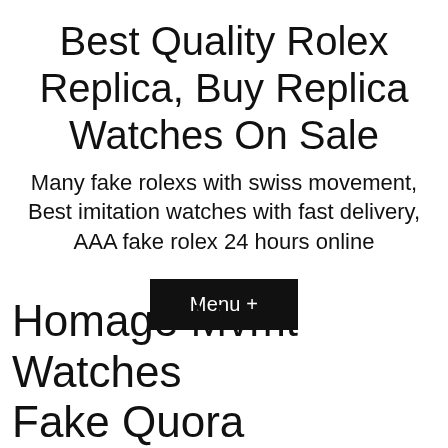Best Quality Rolex Replica, Buy Replica Watches On Sale
Many fake rolexs with swiss movement, Best imitation watches with fast delivery, AAA fake rolex 24 hours online
Menu +
Homage Mvmt Watches Fake Quora